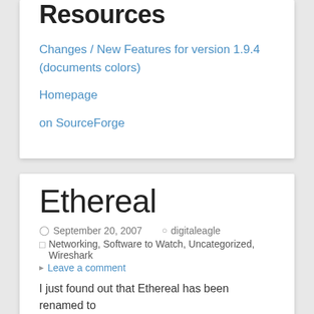Resources
Changes / New Features for version 1.9.4 (documents colors)
Homepage
on SourceForge
Ethereal
September 20, 2007   digitaleagle
Networking, Software to Watch, Uncategorized, Wireshark
Leave a comment
I just found out that Ethereal has been renamed to Wireshark